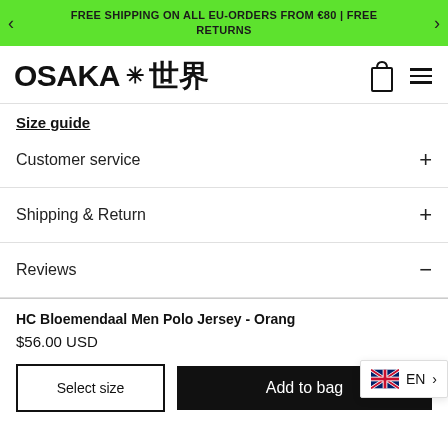FREE SHIPPING ON ALL EU-ORDERS FROM €80 | FREE RETURNS
OSAKA ✳ 世界
Size guide
Customer service
Shipping & Return
Reviews
HC Bloemendaal Men Polo Jersey - Orange
$56.00 USD
Select size
Add to bag
EN